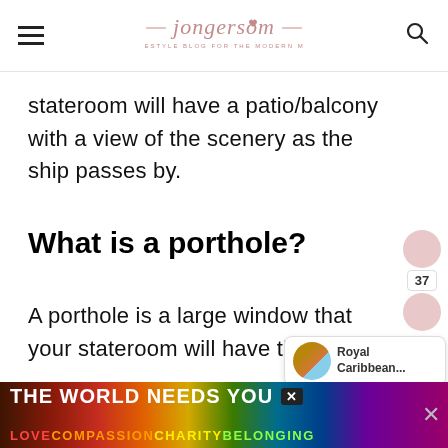jongersom — Lifestyle Blog for the Modern Mom
stateroom will have a patio/balcony with a view of the scenery as the ship passes by.
What is a porthole?
A porthole is a large window that your stateroom will have that will allow...
[Figure (screenshot): Royal Caribbean notification popup with circular image]
[Figure (screenshot): Rainbow pride advertisement banner: THE WORLD NEEDS YOU / LOVE COMPASSION CHARITY BELONGING]